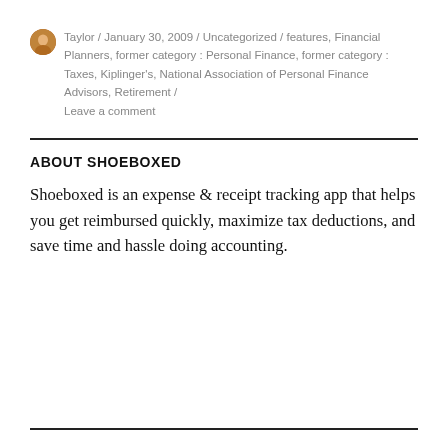Taylor / January 30, 2009 / Uncategorized / features, Financial Planners, former category : Personal Finance, former category : Taxes, Kiplinger's, National Association of Personal Finance Advisors, Retirement / Leave a comment
ABOUT SHOEBOXED
Shoeboxed is an expense & receipt tracking app that helps you get reimbursed quickly, maximize tax deductions, and save time and hassle doing accounting.